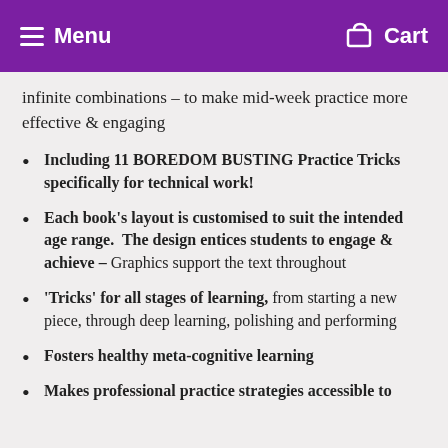Menu  Cart
infinite combinations – to make mid-week practice more effective & engaging
Including 11 BOREDOM BUSTING Practice Tricks specifically for technical work!
Each book's layout is customised to suit the intended age range.  The design entices students to engage & achieve – Graphics support the text throughout
'Tricks' for all stages of learning, from starting a new piece, through deep learning, polishing and performing
Fosters healthy meta-cognitive learning
Makes professional practice strategies accessible to